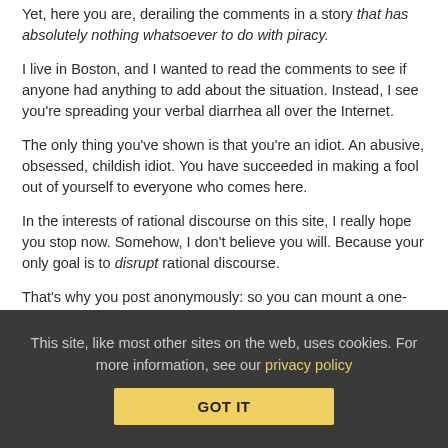Yet, here you are, derailing the comments in a story that has absolutely nothing whatsoever to do with piracy.
I live in Boston, and I wanted to read the comments to see if anyone had anything to add about the situation. Instead, I see you're spreading your verbal diarrhea all over the Internet.
The only thing you've shown is that you're an idiot. An abusive, obsessed, childish idiot. You have succeeded in making a fool out of yourself to everyone who comes here.
In the interests of rational discourse on this site, I really hope you stop now. Somehow, I don't believe you will. Because your only goal is to disrupt rational discourse.
That's why you post anonymously: so you can mount a one-man smear campaign against the site, without any accountability.
You are truly pathetic.
This site, like most other sites on the web, uses cookies. For more information, see our privacy policy